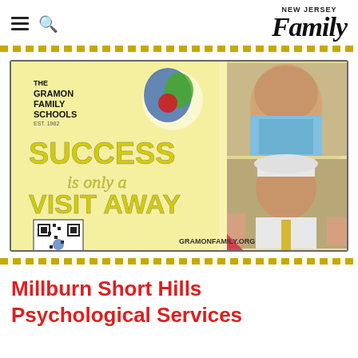NEW JERSEY Family
[Figure (advertisement): The Gramon Family of Schools advertisement. Yellow background with children photos on right side. Text reads: SUCCESS is only a VISIT AWAY. QR code for REQUEST A TOUR. Website: GRAMONFAMILY.ORG]
Millburn Short Hills Psychological Services